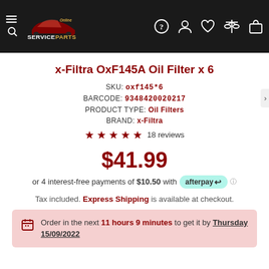[Figure (logo): ServiceParts Online website header with logo featuring a stylized car silhouette and navigation icons]
x-Filtra OxF145A Oil Filter x 6
SKU: oxf145*6
BARCODE: 9348420020217
PRODUCT TYPE: Oil Filters
BRAND: x-Filtra
★★★★★ 18 reviews
$41.99
or 4 interest-free payments of $10.50 with afterpay
Tax included. Express Shipping is available at checkout.
Order in the next 11 hours 9 minutes to get it by Thursday 15/09/2022